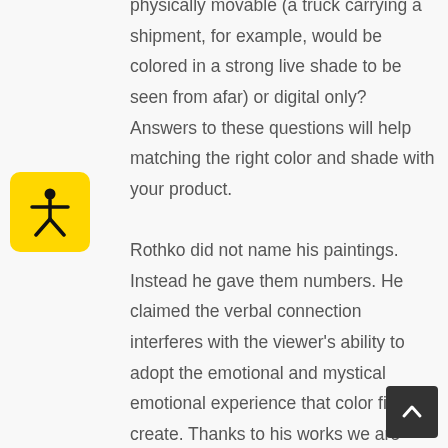physically movable (a truck carrying a shipment, for example, would be colored in a strong live shade to be seen from afar) or digital only? Answers to these questions will help matching the right color and shade with your product.

Rothko did not name his paintings. Instead he gave them numbers. He claimed the verbal connection interferes with the viewer's ability to adopt the emotional and mystical emotional experience that color fields create. Thanks to his works we are more aware of the deep intensities of the color world, and we can use this
[Figure (illustration): Yellow rounded rectangle button with a black accessibility/person icon (arms and legs spread) in the center]
[Figure (illustration): Dark gray square button with a white upward-pointing caret/chevron arrow, used as a scroll-to-top button]